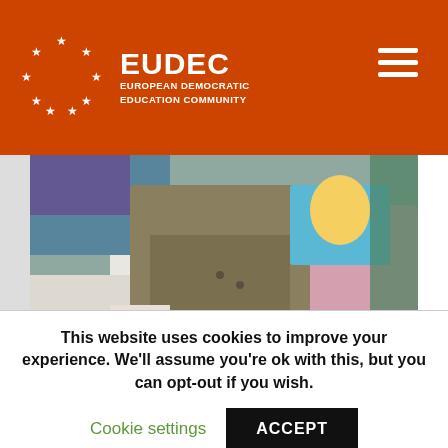[Figure (logo): EUDEC logo with white stars arranged in a circle on orange background, text EUDEC EUROPEAN DEMOCRATIC EDUCATION COMMUNITY in white]
[Figure (photo): A child lying down reading a colorful book, wearing khaki shorts, indoor setting with colorful background]
ojo de agua is an educational environment, an innovation on education. Formally, this is not a school, but an Ecological Park focused on Education and...
This website uses cookies to improve your experience. We'll assume you're ok with this, but you can opt-out if you wish.
Cookie settings
ACCEPT